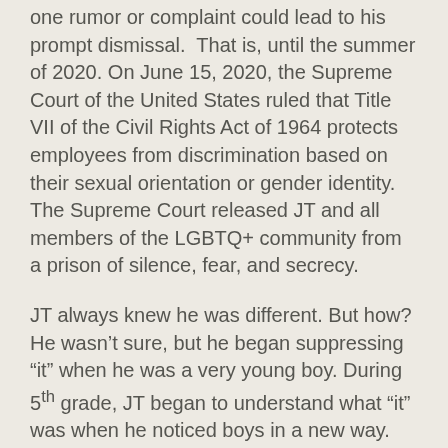one rumor or complaint could lead to his prompt dismissal.  That is, until the summer of 2020. On June 15, 2020, the Supreme Court of the United States ruled that Title VII of the Civil Rights Act of 1964 protects employees from discrimination based on their sexual orientation or gender identity. The Supreme Court released JT and all members of the LGBTQ+ community from a prison of silence, fear, and secrecy.
JT always knew he was different. But how? He wasn't sure, but he began suppressing “it” when he was a very young boy. During 5th grade, JT began to understand what “it” was when he noticed boys in a new way. He was shaken and a bit confused. Though he could not wholly define “it,” he knew that it was not acceptable.  He vowed to himself to work hard to quash the feelings as they surfaced.